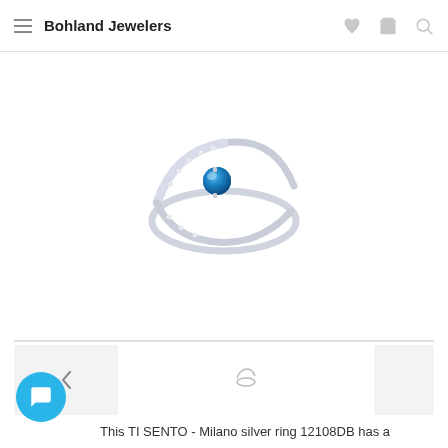Bohland Jewelers
[Figure (photo): Silver ring with a round blue gemstone center stone, surrounded by small clear pavé stones along the band, photographed on white background.]
[Figure (other): Thumbnail navigation row with left arrow, small ring icon, and blank thumbnail placeholder]
This TI SENTO - Milano silver ring 12108DB has a